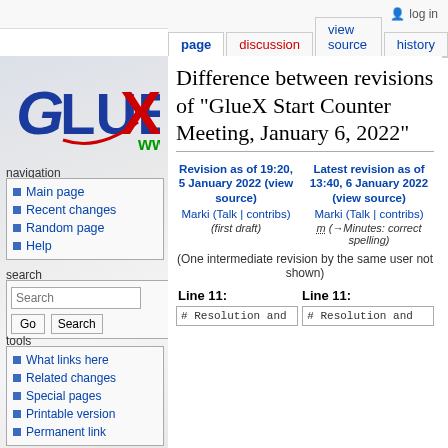log in
page | discussion | view source | history
[Figure (logo): GlueX logo with stylized X in red and blue text]
navigation
Main page
Recent changes
Random page
Help
search
tools
What links here
Related changes
Special pages
Printable version
Permanent link
Difference between revisions of "GlueX Start Counter Meeting, January 6, 2022"
Revision as of 19:20, 5 January 2022 (view source)
Marki (Talk | contribs)
(first draft)
Latest revision as of 13:40, 6 January 2022 (view source)
Marki (Talk | contribs)
m (→Minutes: correct spelling)
(One intermediate revision by the same user not shown)
Line 11:
Line 11:
# Resolution and
# Resolution and